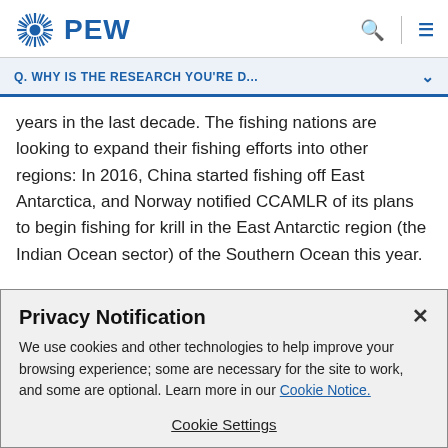PEW
Q. WHY IS THE RESEARCH YOU'RE D...
years in the last decade. The fishing nations are looking to expand their fishing efforts into other regions: In 2016, China started fishing off East Antarctica, and Norway notified CCAMLR of its plans to begin fishing for krill in the East Antarctic region (the Indian Ocean sector) of the Southern Ocean this year.
Privacy Notification
We use cookies and other technologies to help improve your browsing experience; some are necessary for the site to work, and some are optional. Learn more in our Cookie Notice.
Cookie Settings